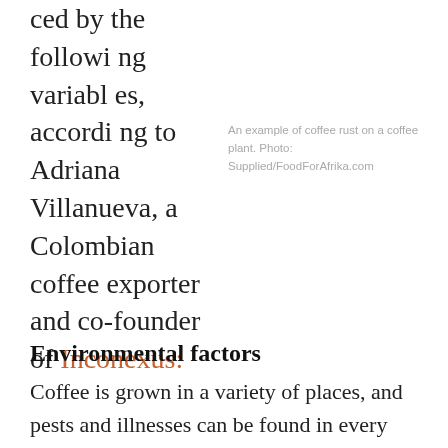ced by the following variables, according to Adriana Villanueva, a Colombian coffee exporter and co-founder of Inconexus:
An example of coffee rust on a coffee plant. Photo: Supplied/FoodForAfrika.com
Environmental factors
Coffee is grown in a variety of places, and pests and illnesses can be found in every location. However, depending on the environment, different pests and illnesses exist. The coffee borer insect, for example, thrives in humid